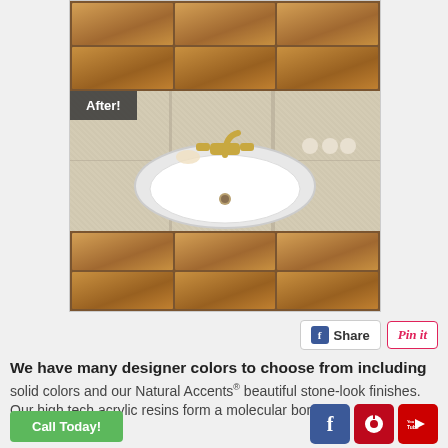[Figure (photo): Before/after bathroom vanity renovation photo showing wooden cabinet drawers above and below, with a white sink basin and gold faucet set into a speckled beige countertop. An 'After!' label overlay is shown on the counter area.]
We have many designer colors to choose from including solid colors and our Natural Accents® beautiful stone-look finishes. Our high tech acrylic resins form a molecular bond to your existing surface and we...